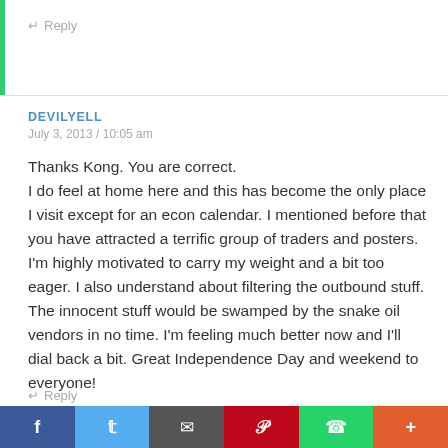↵ Reply
DEVILYELL
July 3, 2013 / 10:05 am
Thanks Kong. You are correct. I do feel at home here and this has become the only place I visit except for an econ calendar. I mentioned before that you have attracted a terrific group of traders and posters. I'm highly motivated to carry my weight and a bit too eager. I also understand about filtering the outbound stuff. The innocent stuff would be swamped by the snake oil vendors in no time. I'm feeling much better now and I'll dial back a bit. Great Independence Day and weekend to everyone!
↵ Reply